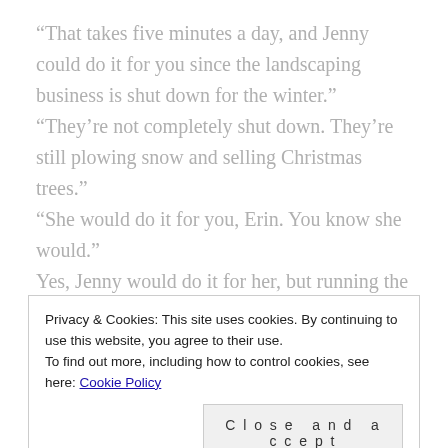“That takes five minutes a day, and Jenny could do it for you since the landscaping business is shut down for the winter.” “They’re not completely shut down. They’re still plowing snow and selling Christmas trees.” “She would do it for you, Erin. You know she would.” Yes, Jenny would do it for her, but running the lighthouse wasn’t the only reason she couldn’t go. But before she could fall down that particular rabbit hole, he came to her rescue once again. “Let’s not worry about that today when we have so
Privacy & Cookies: This site uses cookies. By continuing to use this website, you agree to their use. To find out more, including how to control cookies, see here: Cookie Policy
Close and accept
bring her joy. A tree always seemed like more